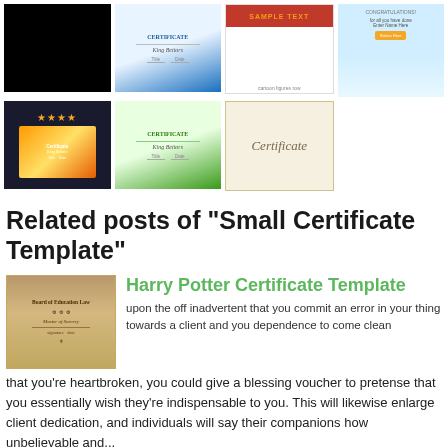[Figure (screenshot): Gallery row of 4 certificate template thumbnails: black image, blue certificate, kids sample text, congratulations banner]
[Figure (screenshot): Gallery row of 3 certificate template thumbnails: orange certificate on dark background, green certificate, vintage certificate]
Related posts of "Small Certificate Template"
[Figure (photo): Thumbnail of Harry Potter Certificate Template - vintage/parchment style certificate]
Harry Potter Certificate Template
upon the off inadvertent that you commit an error in your thing towards a client and you dependence to come clean that you're heartbroken, you could give a blessing voucher to pretense that you essentially wish they're indispensable to you. This will likewise enlarge client dedication, and individuals will say their companions how unbelievable and...